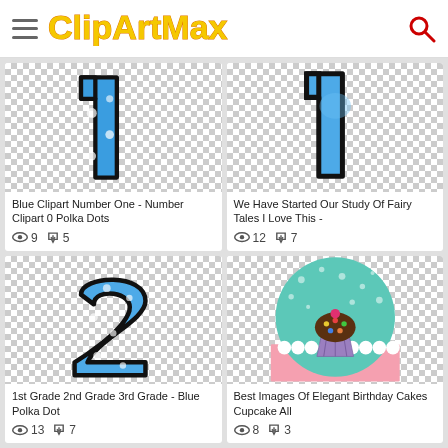CLIPARTMAX
[Figure (illustration): Blue number one clipart with polka dots on checkerboard transparent background]
Blue Clipart Number One - Number Clipart 0 Polka Dots
Views: 9  Downloads: 5
[Figure (illustration): Blue number one clipart on checkerboard transparent background]
We Have Started Our Study Of Fairy Tales I Love This -
Views: 12  Downloads: 7
[Figure (illustration): Blue polka dot number 2 clipart on checkerboard transparent background]
1st Grade 2nd Grade 3rd Grade - Blue Polka Dot
Views: 13  Downloads: 7
[Figure (illustration): Birthday cupcake clipart with teal polka dot semicircle background on pink surface]
Best Images Of Elegant Birthday Cakes Cupcake All
Views: 8  Downloads: 3